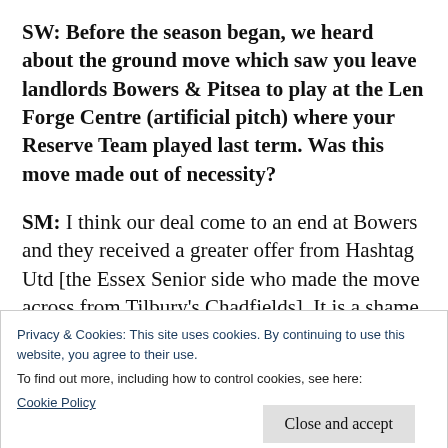SW: Before the season began, we heard about the ground move which saw you leave landlords Bowers & Pitsea to play at the Len Forge Centre (artificial pitch) where your Reserve Team played last term. Was this move made out of necessity?
SM: I think our deal come to an end at Bowers and they received a greater offer from Hashtag Utd [the Essex Senior side who made the move across from Tilbury's Chadfields]. It is a shame
Privacy & Cookies: This site uses cookies. By continuing to use this website, you agree to their use.
To find out more, including how to control cookies, see here:
Cookie Policy
Close and accept
Utd are handily-placed in third spot, seven